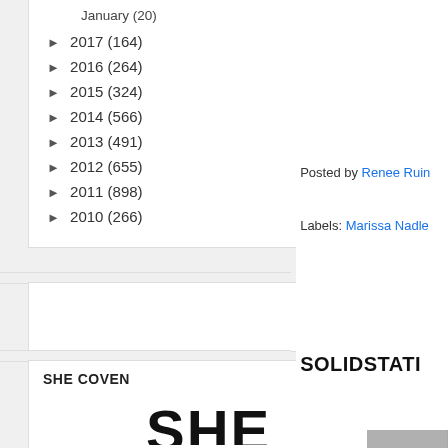January (20)
► 2017 (164)
► 2016 (264)
► 2015 (324)
► 2014 (566)
► 2013 (491)
► 2012 (655)
► 2011 (898)
► 2010 (266)
Posted by Renee Ruin
Labels: Marissa Nadle
SOLIDSTATI
[Figure (photo): Grayscale photo partially visible on right side]
SHE COVEN
[Figure (illustration): Partial text/logo art showing stylized letters at bottom of page]